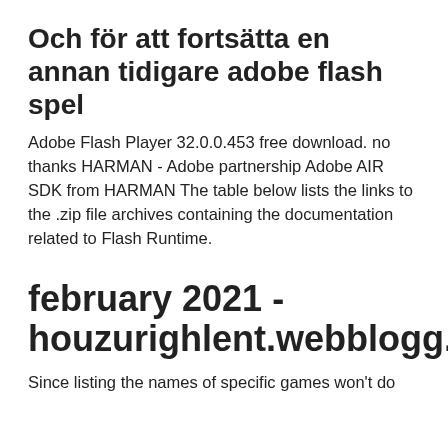Och för att fortsätta en annan tidigare adobe flash spel
Adobe Flash Player 32.0.0.453 free download. no thanks HARMAN - Adobe partnership Adobe AIR SDK from HARMAN The table below lists the links to the .zip file archives containing the documentation related to Flash Runtime.
february 2021 - houzurighlent.webblogg.se
Since listing the names of specific games won't do